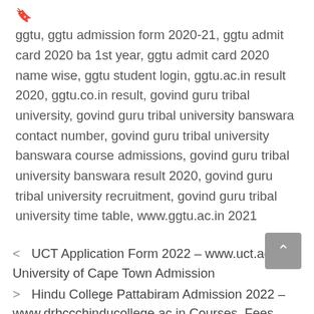ggtu, ggtu admission form 2020-21, ggtu admit card 2020 ba 1st year, ggtu admit card 2020 name wise, ggtu student login, ggtu.ac.in result 2020, ggtu.co.in result, govind guru tribal university, govind guru tribal university banswara contact number, govind guru tribal university banswara course admissions, govind guru tribal university banswara result 2020, govind guru tribal university recruitment, govind guru tribal university time table, www.ggtu.ac.in 2021
UCT Application Form 2022 – www.uct.ac.za University of Cape Town Admission
Hindu College Pattabiram Admission 2022 – www.drbccchinducollege.ac.in Courses, Fees,